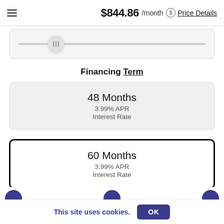$844.86 /month Price Details
[Figure (other): Horizontal slider control with thumb handle showing drag indicator lines]
Financing Term
48 Months
3.99% APR
Interest Rate
60 Months
3.99% APR
Interest Rate
This site uses cookies.
OK